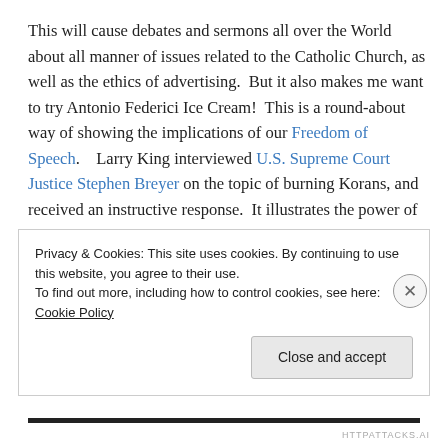This will cause debates and sermons all over the World about all manner of issues related to the Catholic Church, as well as the ethics of advertising.  But it also makes me want to try Antonio Federici Ice Cream!  This is a round-about way of showing the implications of our Freedom of Speech.    Larry King interviewed U.S. Supreme Court Justice Stephen Breyer on the topic of burning Korans, and received an instructive response.  It illustrates the power of issues being aired and debated, and finally
Privacy & Cookies: This site uses cookies. By continuing to use this website, you agree to their use.
To find out more, including how to control cookies, see here: Cookie Policy
Close and accept